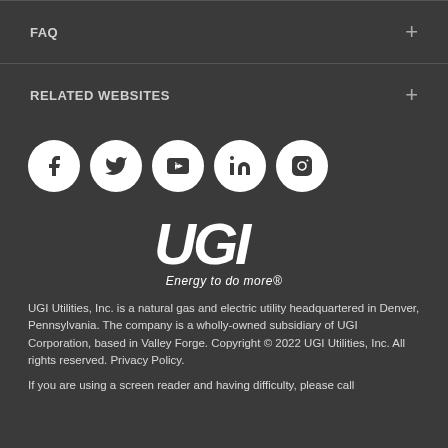FAQ
RELATED WEBSITES
[Figure (logo): Social media icons: Facebook, Twitter, YouTube, LinkedIn, Instagram]
[Figure (logo): UGI logo with tagline 'Energy to do more']
UGI Utilities, Inc. is a natural gas and electric utility headquartered in Denver, Pennsylvania. The company is a wholly-owned subsidiary of UGI Corporation, based in Valley Forge. Copyright © 2022 UGI Utilities, Inc. All rights reserved. Privacy Policy.
If you are using a screen reader and having difficulty, please call